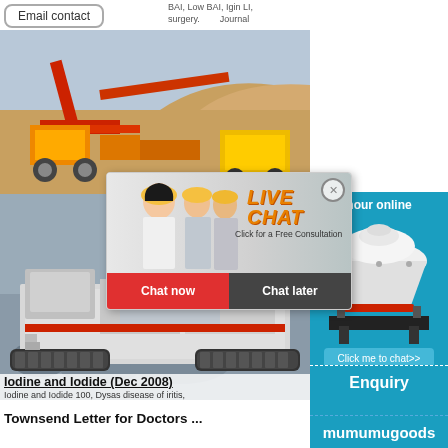Email contact
surgery. Journal
[Figure (photo): Large red mining/crushing machine on a sandy excavation site]
[Figure (photo): Live Chat popup overlay showing workers in yellow hard hats with text LIVE CHAT, Click for a Free Consultation, Chat now, Chat later buttons]
[Figure (photo): Mobile track-mounted crushing/processing machine on a rocky site]
[Figure (photo): Right sidebar showing a cone crusher machine with hour online label, Click me to chat>> button, Enquiry heading, and mumumugoods text on blue background]
Iodine and Iodide (Dec 2008)
Iodine and Iodide 100, Dysas disease of iritis,
Townsend Letter for Doctors ...